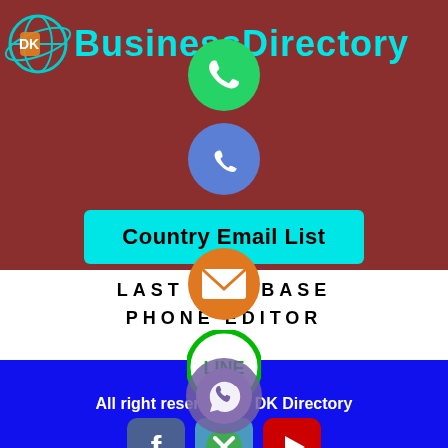[Figure (logo): DK Business Directory logo with globe icon and cyan text]
[Figure (illustration): WhatsApp green circle icon at top center]
[Figure (illustration): Phone call blue circle icon]
Country Email List
[Figure (illustration): Orange mail/email circle icon]
LAST DATABASE
PHONE EDITOR
[Figure (illustration): LINE green circle app icon]
[Figure (illustration): Viber purple circle icon]
All right reserved by DK Directory
[Figure (illustration): Facebook, X (close/cancel), and YouTube social media icons in squares at bottom]